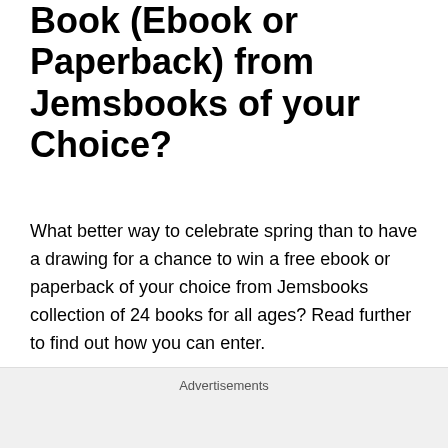Book (Ebook or Paperback) from Jemsbooks of your Choice?
What better way to celebrate spring than to have a drawing for a chance to win a free ebook or paperback of your choice from Jemsbooks collection of 24 books for all ages? Read further to find out how you can enter.
I am looking for photos of you with one or more of my books along with your reviews to post here on my blog. Are you interested? I will be offering a chance for a free ebook or paperback of your choice in a drawing for all who
Advertisements